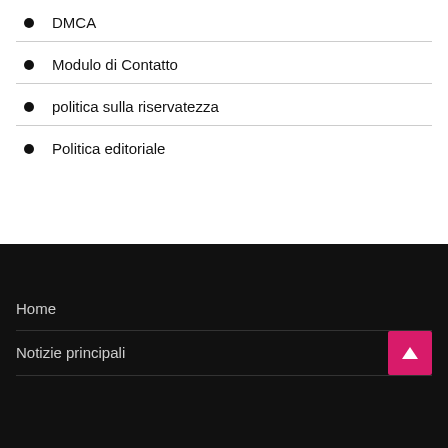DMCA
Modulo di Contatto
politica sulla riservatezza
Politica editoriale
Home
Notizie principali